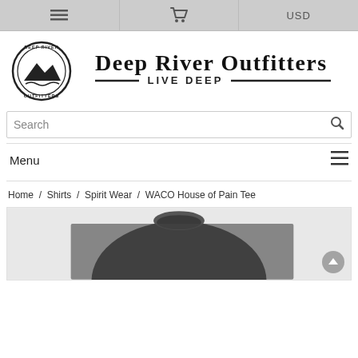Navigation bar with menu, cart, and USD icons
[Figure (logo): Deep River Outfitters logo with circular mountain/river emblem and text 'DEEP RIVER OUTFITTERS - LIVE DEEP']
Search
Menu
Home / Shirts / Spirit Wear / WACO House of Pain Tee
[Figure (photo): Dark heather grey t-shirt product photo, showing the back/collar area]